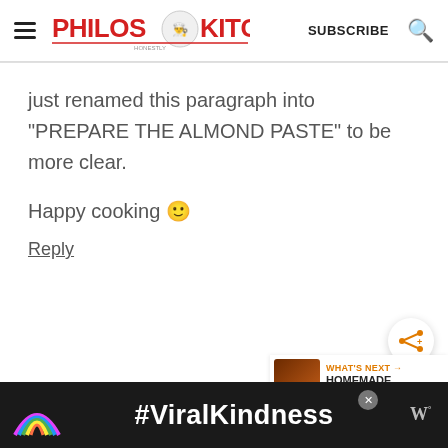[Figure (logo): Philos Kitchen website logo with chef illustration]
just renamed this paragraph into "PREPARE THE ALMOND PASTE" to be more clear.

Happy cooking 🙂
Reply
[Figure (other): Share button icon (orange)]
[Figure (other): What's Next widget showing HOMEMADE SUN-DRIED... with food thumbnail]
[Figure (other): Advertisement banner with #ViralKindness text and rainbow illustration]